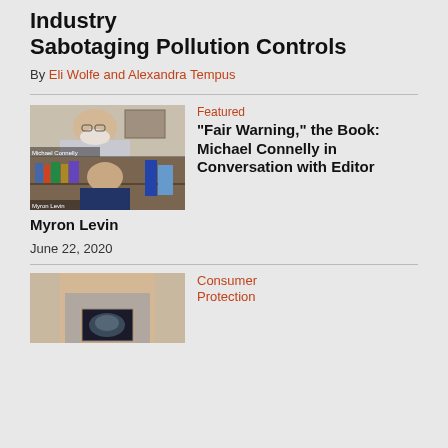Industry Sabotaging Pollution Controls
By Eli Wolfe and Alexandra Tempus
[Figure (photo): Video call screenshot showing two people: an older man with white beard in a light shirt (Michael Connelly) on top, and a woman (Myron Levin) on bottom, sitting in front of bookshelves.]
Featured
“Fair Warning,” the Book: Michael Connelly in Conversation with Editor Myron Levin
June 22, 2020
[Figure (photo): A woman holding an ultrasound image in front of her, wearing a gray tank top.]
Consumer Protection